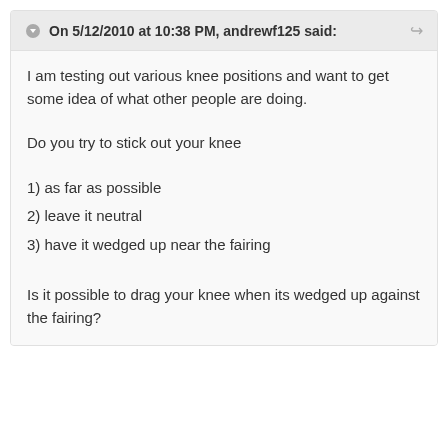On 5/12/2010 at 10:38 PM, andrewf125 said:
I am testing out various knee positions and want to get some idea of what other people are doing.
Do you try to stick out your knee
1) as far as possible
2) leave it neutral
3) have it wedged up near the fairing
Is it possible to drag your knee when its wedged up against the fairing?